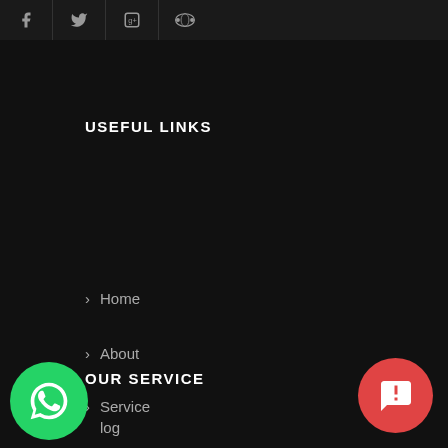[Figure (other): Social media icon bar at top showing Facebook, Twitter, Google+, and another icon on dark background]
USEFUL LINKS
Home
About
Service
Contact Us
Fleet
OUR SERVICE
Blog
[Figure (logo): WhatsApp green circular button at bottom left]
[Figure (other): Red circular chat/message button at bottom right]